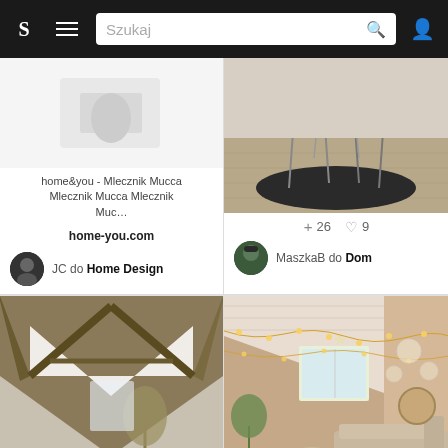S [menu] Szukaj [search icon] [user icon]
[Figure (screenshot): Social pinboard app card: home&you product listing with text 'home&you - Mlecznik Mucca Mlecznik Mucca Mlecznik Muc...' and source home-you.com, user JC do Home Design]
[Figure (photo): Interior photo showing chairs and dark rug on wooden floor, stats: +26, heart 9, user MaszkaB do Dom]
[Figure (photo): Attic bedroom with wooden beams and minimalist furniture, stats: +14, heart 9, source Furnlovers www.furnlovers.nl na Instagramie: M...]
[Figure (photo): Cozy attic living room with fairy lights and warm tones, stats: +20, heart 9, source Room For Girl Interior Inspo na Instagramie: Christmas...]